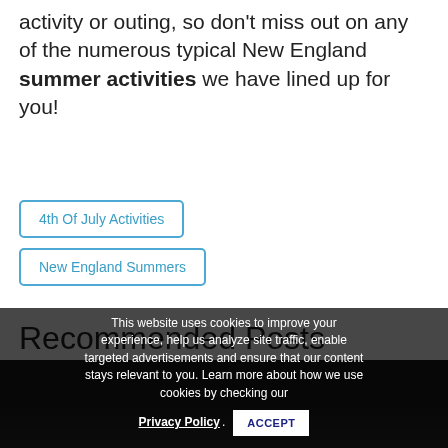activity or outing, so don't miss out on any of the numerous typical New England summer activities we have lined up for you!
4th Of July Activities
New England Summers
Recommended Posts
This website uses cookies to improve your experience, help us analyze site traffic, enable targeted advertisements and ensure that our content stays relevant to you. Learn more about how we use cookies by checking our Privacy Policy. ACCEPT